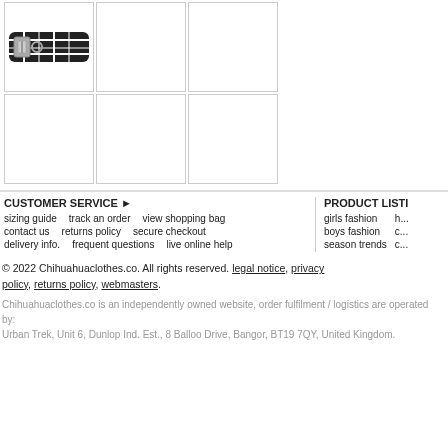[Figure (photo): Product grid showing 6 cells (2 rows x 3 columns). Top-left cell contains a plaid/tartan dog collar product image. Other cells are empty with grey borders.]
CUSTOMER SERVICE ▶
sizing guide   track an order   view shopping bag
contact us   returns policy   secure checkout
delivery info.   frequent questions   live online help
PRODUCT LISTI...
girls fashion   h...
boys fashion   c...
season trends   c...
© 2022 Chihuahuaclothes.co. All rights reserved. legal notice, privacy policy, returns policy, webmasters.
Chihuahuaclothes.co is an independently owned website, order fulfilment / logistics are operated by:
Urban Trek, Unit 6, Dunlop Ind. Est., 8 Balloo Drive, Bangor, BT19 7QY, United Kingdom.